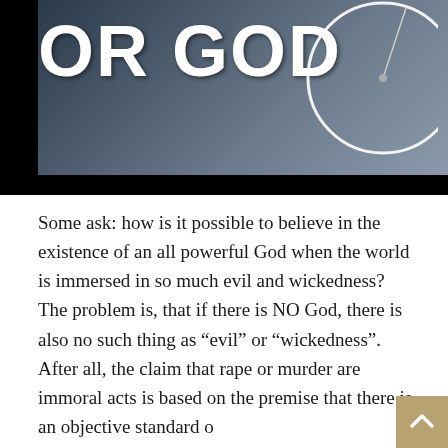[Figure (photo): Dark moody image with large bold white text reading 'OR GOD' on the left and a partial clock face on the right, against a dark gray/blue background with a black bar below.]
Some ask: how is it possible to believe in the existence of an all powerful God when the world is immersed in so much evil and wickedness? The problem is, that if there is NO God, there is also no such thing as “evil” or “wickedness”. After all, the claim that rape or murder are immoral acts is based on the premise that there is an objective standard o